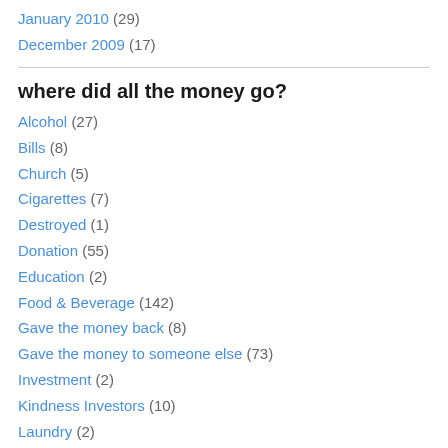January 2010 (29)
December 2009 (17)
where did all the money go?
Alcohol (27)
Bills (8)
Church (5)
Cigarettes (7)
Destroyed (1)
Donation (55)
Education (2)
Food & Beverage (142)
Gave the money back (8)
Gave the money to someone else (73)
Investment (2)
Kindness Investors (10)
Laundry (2)
Lottery / Gambling (5)